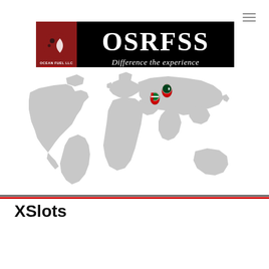[Figure (logo): OSRFSS logo banner with Ocean Fuel LLC Bunker Supplier branding on black background. Left side has dark red panel with crescent and dots icon. Right side shows 'OSRFSS' in large serif font with tagline 'Difference the experience']
[Figure (map): Grayscale world map with two location pin markers over the Middle East / South Asia region. One pin shows UAE flag (red and white with UAE emblem), another shows Pakistan flag (green with crescent and star).]
XSlots
[Figure (screenshot): Bottom black footer area with two dark thumbnail image placeholders side by side, a scroll-to-top button, and a reCAPTCHA Privacy Terms badge in the bottom right corner.]